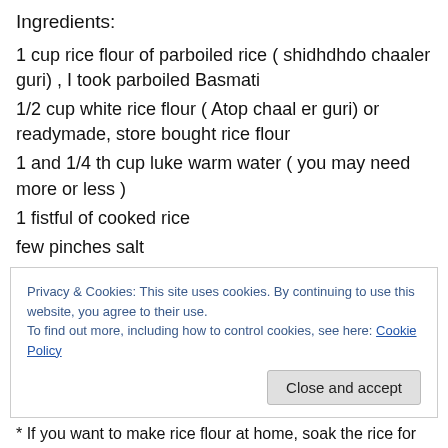Ingredients:
1 cup rice flour of parboiled rice ( shidhdhdo chaaler guri) , I took parboiled Basmati
1/2 cup white rice flour ( Atop chaal er guri) or readymade, store bought rice flour
1 and 1/4 th cup luke warm water ( you may need more or less )
1 fistful of cooked rice
few pinches salt
1 tea spoon baking powder
Privacy & Cookies: This site uses cookies. By continuing to use this website, you agree to their use.
To find out more, including how to control cookies, see here: Cookie Policy
* If you want to make rice flour at home, soak the rice for